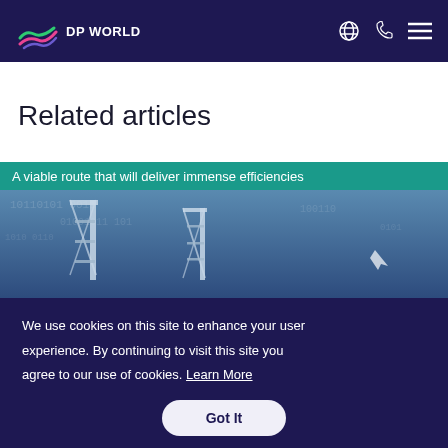DP WORLD
Related articles
A viable route that will deliver immense efficiencies
[Figure (photo): Aerial view of port cranes against a digital blue background with binary code overlay]
We use cookies on this site to enhance your user experience. By continuing to visit this site you agree to our use of cookies. Learn More
Got It